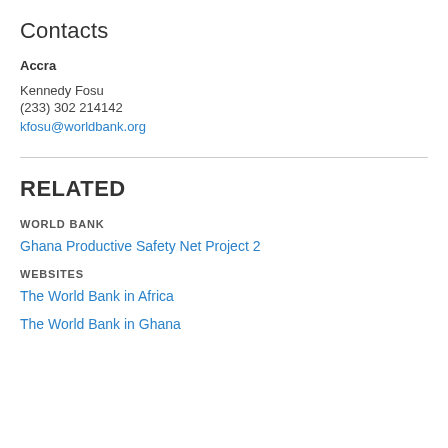Contacts
Accra
Kennedy Fosu
(233) 302 214142
kfosu@worldbank.org
RELATED
WORLD BANK
Ghana Productive Safety Net Project 2
WEBSITES
The World Bank in Africa
The World Bank in Ghana